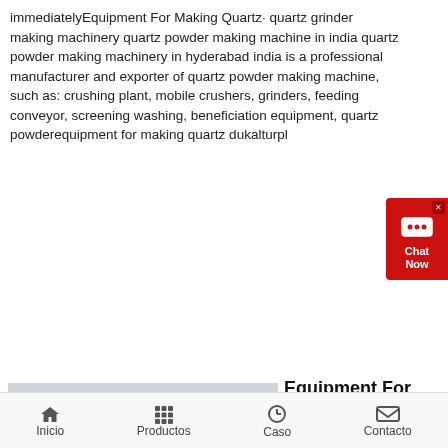immediatelyEquipment For Making Quartz· quartz grinder making machinery quartz powder making machine in india quartz powder making machinery in hyderabad india is a professional manufacturer and exporter of quartz powder making machine, such as: crushing plant, mobile crushers, grinders, feeding conveyor, screening washing, beneficiation equipment, quartz powderequipment for making quartz dukalturpl
[Figure (photo): Industrial vibratory/screening machine made of grey steel, shown in a factory setting. The machine has a flat rectangular bed with multiple angled support brackets underneath, mounted on cylindrical legs.]
Equipment For Making Quartz In Pakistan
Equipment For Making Quartz In Pakistan Aug 09 2019 quartz at work
Inicio  Productos  Caso  Contacto